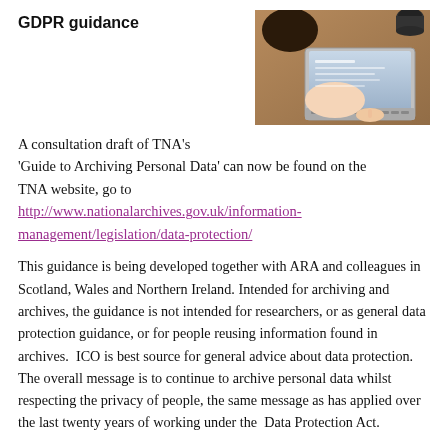GDPR guidance
[Figure (photo): Person working at a laptop computer, viewed from above at an angle, on a wooden desk surface.]
A consultation draft of TNA's 'Guide to Archiving Personal Data' can now be found on the TNA website, go to http://www.nationalarchives.gov.uk/information-management/legislation/data-protection/
This guidance is being developed together with ARA and colleagues in Scotland, Wales and Northern Ireland. Intended for archiving and archives, the guidance is not intended for researchers, or as general data protection guidance, or for people reusing information found in archives.  ICO is best source for general advice about data protection.  The overall message is to continue to archive personal data whilst respecting the privacy of people, the same message as has applied over the last twenty years of working under the  Data Protection Act.